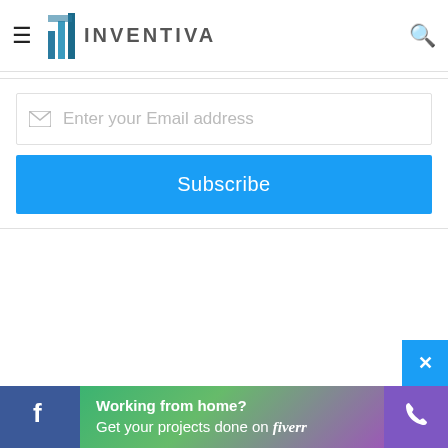INVENTIVA
get the new updates! Lorem amet consectetur
Enter your Email address
Subscribe
Working from home? Get your projects done on fiverr